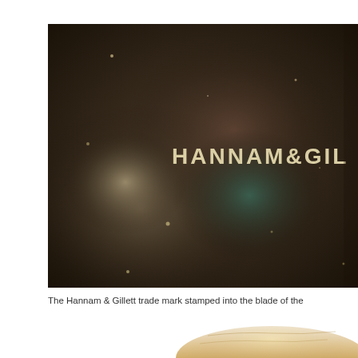[Figure (photo): Close-up photograph of a dark, aged metal blade surface with the text 'HANNAM&GIL' (partially visible, cut off at right edge) stamped into the metal in worn letters.]
The Hannam & Gillett trade mark stamped into the blade of the
[Figure (photo): Partial view of wooden handle of an object, likely a tool or blade, showing warm brown wood grain at the bottom of the page.]